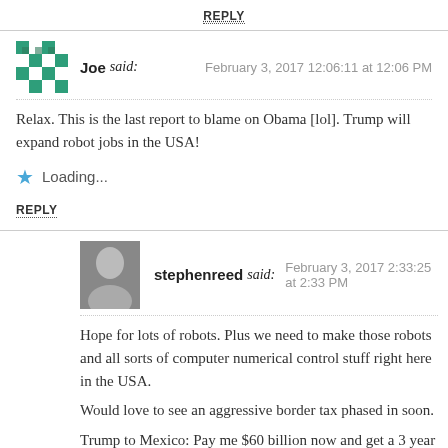REPLY
Joe said: February 3, 2017 12:06:11 at 12:06 PM
Relax. This is the last report to blame on Obama [lol]. Trump will expand robot jobs in the USA!
Loading...
REPLY
stephenreed said: February 3, 2017 2:33:25 at 2:33 PM
Hope for lots of robots. Plus we need to make those robots and all sorts of computer numerical control stuff right here in the USA.
Would love to see an aggressive border tax phased in soon.
Trump to Mexico: Pay me $60 billion now and get a 3 year hiatus on the 20% border tax on our $300+ billion imports from